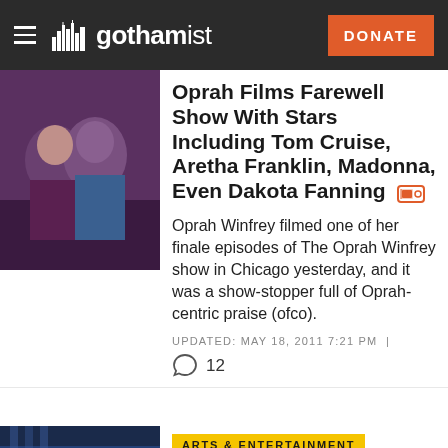gothamist | DONATE
Oprah Films Farewell Show With Stars Including Tom Cruise, Aretha Franklin, Madonna, Even Dakota Fanning
Oprah Winfrey filmed one of her finale episodes of The Oprah Winfrey show in Chicago yesterday, and it was a show-stopper full of Oprah-centric praise (ofco).
UPDATED: MAY 18, 2011 7:21 PM | 12
ARTS & ENTERTAINMENT